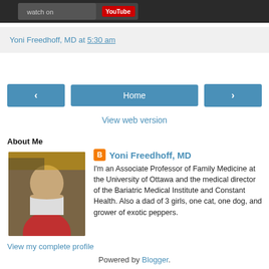[Figure (screenshot): Dark banner with YouTube branding at top of page]
Yoni Freedhoff, MD at 5:30 am
[Figure (other): Navigation buttons: left arrow, Home, right arrow]
View web version
About Me
[Figure (photo): Profile photo of Yoni Freedhoff, MD]
Yoni Freedhoff, MD
I'm an Associate Professor of Family Medicine at the University of Ottawa and the medical director of the Bariatric Medical Institute and Constant Health. Also a dad of 3 girls, one cat, one dog, and grower of exotic peppers.
View my complete profile
Powered by Blogger.